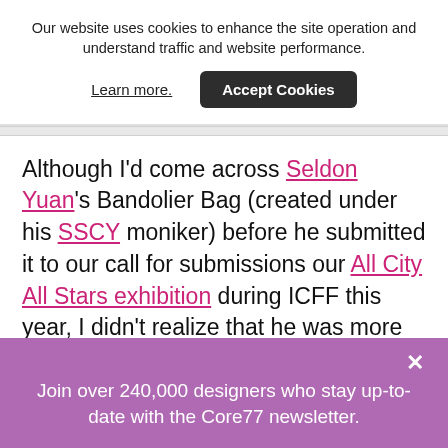Our website uses cookies to enhance the site operation and understand traffic and website performance.
Learn more.   Accept Cookies
Although I'd come across Seldon Yuan's Bandolier Bag (created under his SSCY moniker) before he submitted it to our call for submissions our All City All Stars exhibition during ICFF this year, I didn't realize that he was more than just a designer: we ended up selecting his other entry, a sculptural work called "Center of the
× Join over 240,000 designers who stay up-to-date with the Core77 newsletter.